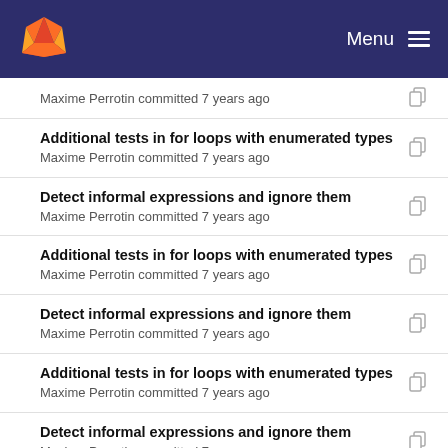Menu
Maxime Perrotin committed 7 years ago
Additional tests in for loops with enumerated types
Maxime Perrotin committed 7 years ago
Detect informal expressions and ignore them
Maxime Perrotin committed 7 years ago
Additional tests in for loops with enumerated types
Maxime Perrotin committed 7 years ago
Detect informal expressions and ignore them
Maxime Perrotin committed 7 years ago
Additional tests in for loops with enumerated types
Maxime Perrotin committed 7 years ago
Detect informal expressions and ignore them
Maxime Perrotin committed 7 years ago
Test Case for Expr := Not Expr
Maxime Perrotin committed 7 years ago